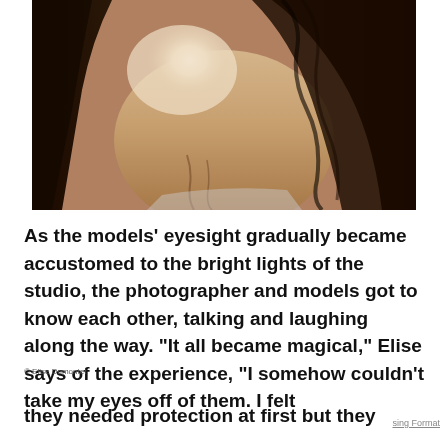[Figure (photo): Close-up photograph of a person's neck and lower face showing vitiligo (skin depigmentation), with long dark curly hair on both sides. The image is cropped showing neck/chin area with a large white/light patch of skin due to vitiligo.]
As the models' eyesight gradually became accustomed to the bright lights of the studio, the photographer and models got to know each other, talking and laughing along the way. “It all became magical,” Elise says of the experience, “I somehow couldn’t take my eyes off of them. I felt they needed protection at first but they
© Elise Dumontet.
sing Format